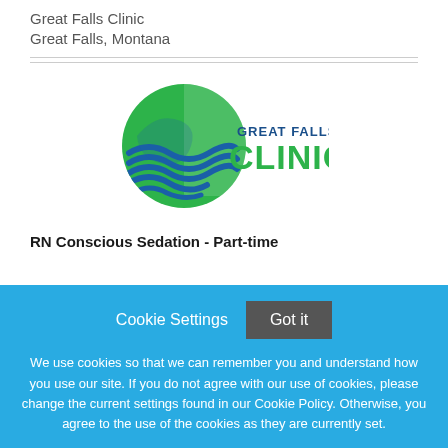Great Falls Clinic
Great Falls, Montana
[Figure (logo): Great Falls Clinic logo: a green circle with blue wave lines and the text GREAT FALLS CLINIC in green and navy]
RN Conscious Sedation - Part-time
Cookie Settings  Got it

We use cookies so that we can remember you and understand how you use our site. If you do not agree with our use of cookies, please change the current settings found in our Cookie Policy. Otherwise, you agree to the use of the cookies as they are currently set.